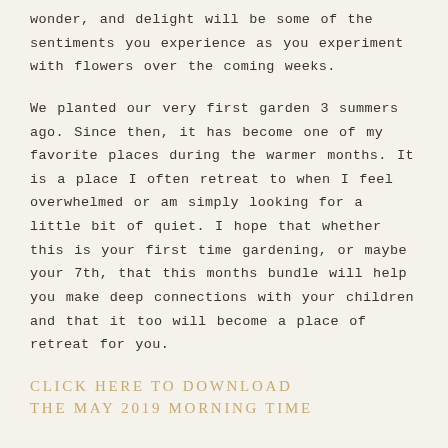wonder, and delight will be some of the sentiments you experience as you experiment with flowers over the coming weeks.
We planted our very first garden 3 summers ago. Since then, it has become one of my favorite places during the warmer months. It is a place I often retreat to when I feel overwhelmed or am simply looking for a little bit of quiet. I hope that whether this is your first time gardening, or maybe your 7th, that this months bundle will help you make deep connections with your children and that it too will become a place of retreat for you.
CLICK HERE TO DOWNLOAD THE MAY 2019 MORNING TIME